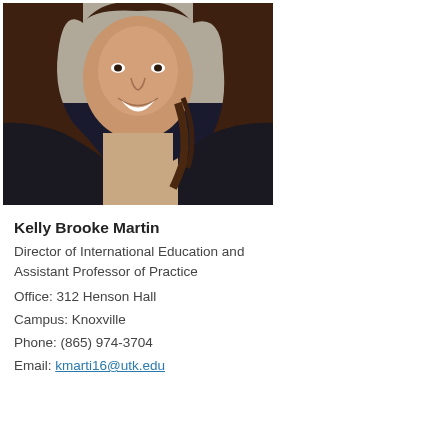[Figure (photo): Headshot photo of Kelly Brooke Martin, a woman with long brown hair, smiling, wearing a dark blazer over a light top, photographed outdoors with a blurred background.]
Kelly Brooke Martin
Director of International Education and
Assistant Professor of Practice
Office: 312 Henson Hall
Campus: Knoxville
Phone: (865) 974-3704
Email: kmarti16@utk.edu